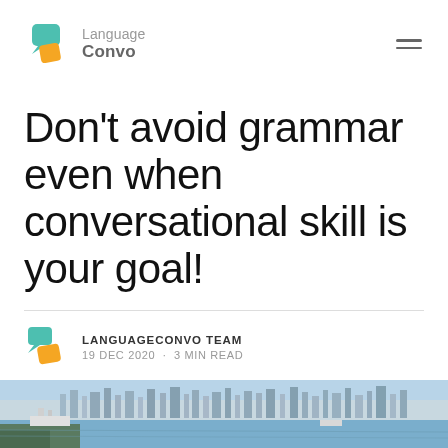[Figure (logo): Language Convo logo with speech bubble icons (teal and orange) and text 'Language Convo']
Don't avoid grammar even when conversational skill is your goal!
LANGUAGECONVO TEAM · 19 DEC 2020 · 3 MIN READ
[Figure (photo): Aerial or distant view of a coastal city with a harbor, cruise ships, and waterfront skyline]